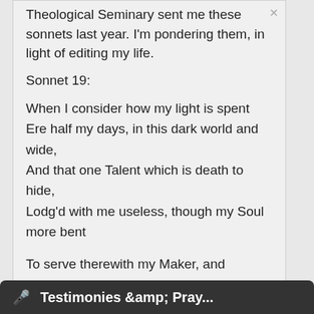Theological Seminary sent me these sonnets last year. I'm pondering them, in light of editing my life.
Sonnet 19:
When I consider how my light is spent
Ere half my days, in this dark world and wide,
And that one Talent which is death to hide,
Lodg'd with me useless, though my Soul more bent

To serve therewith my Maker, and present
My true account, let he returning chide;
"Doth God exact day-labor, light denied,"
I fondly ask; but
Testimonies &amp; Pray...